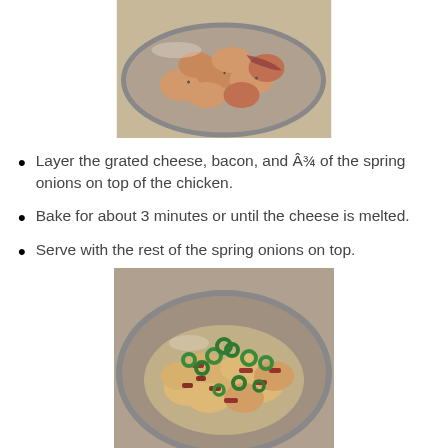[Figure (photo): A baking dish with cooked chicken pieces in a metal pan, viewed from above, before toppings are added.]
Layer the grated cheese, bacon, and Â¾ of the spring onions on top of the chicken.
Bake for about 3 minutes or until the cheese is melted.
Serve with the rest of the spring onions on top.
[Figure (photo): A baking dish with cooked chicken topped with melted cheese, bacon pieces, and chopped spring onions, viewed from above.]